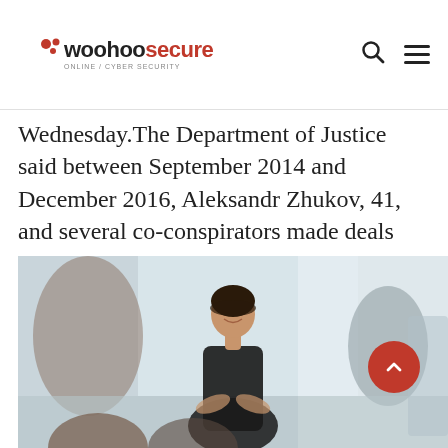WooHooSecure
Wednesday.The Department of Justice said between September 2014 and December 2016, Aleksandr Zhukov, 41, and several co-conspirators made deals with ad networks to place online ads but...
[Figure (photo): A woman in a black sleeveless top smiling and laughing, standing in a bright indoor setting, with people visible in the foreground and background. A red scroll-up button overlays the bottom right area of the photo.]